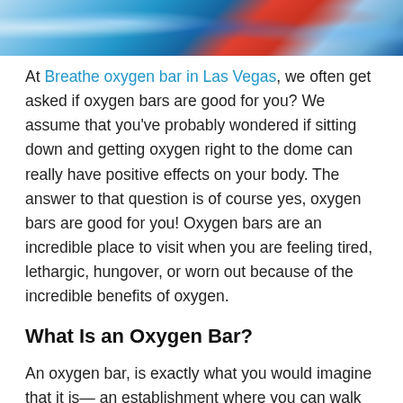[Figure (photo): Colorful photo strip showing oxygen bar equipment with blue, red, and multicolored hues at the top of the page]
At Breathe oxygen bar in Las Vegas, we often get asked if oxygen bars are good for you? We assume that you've probably wondered if sitting down and getting oxygen right to the dome can really have positive effects on your body. The answer to that question is of course yes, oxygen bars are good for you! Oxygen bars are an incredible place to visit when you are feeling tired, lethargic, hungover, or worn out because of the incredible benefits of oxygen.
What Is an Oxygen Bar?
An oxygen bar, is exactly what you would imagine that it is— an establishment where you can walk up